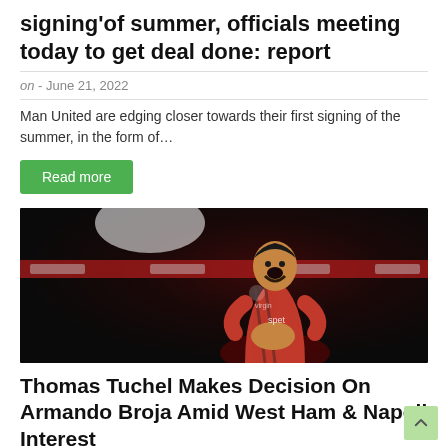signing'of summer, officials meeting today to get deal done: report
on - June 21, 2022
Man United are edging closer towards their first signing of the summer, in the form of…
Read more
[Figure (photo): A footballer wearing a red Southampton kit with mouth open, appearing to be shouting or celebrating, photographed against a dark stadium background]
Thomas Tuchel Makes Decision On Armando Broja Amid West Ham & Napoli Interest